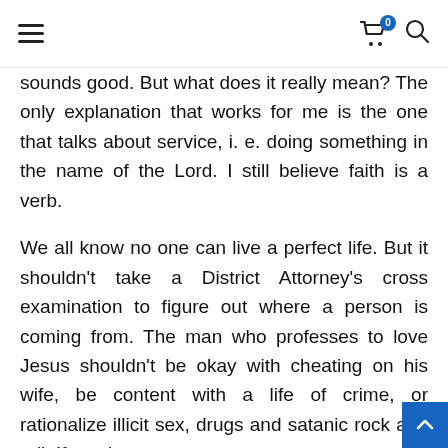Navigation header with hamburger menu, cart icon with badge 0, and search icon
sounds good. But what does it really mean? The only explanation that works for me is the one that talks about service, i. e. doing something in the name of the Lord. I still believe faith is a verb.
We all know no one can live a perfect life. But it shouldn't take a District Attorney's cross examination to figure out where a person is coming from. The man who professes to love Jesus shouldn't be okay with cheating on his wife, be content with a life of crime, or rationalize illicit sex, drugs and satanic rock and roll. If so, then t